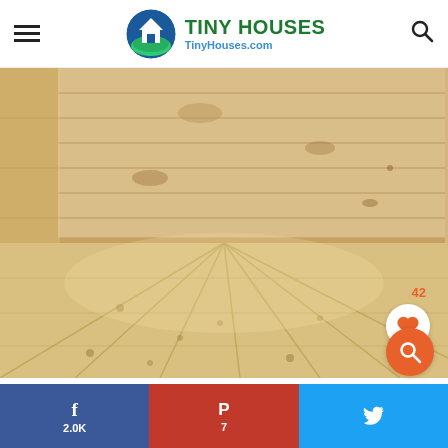TINY HOUSES - TinyHouses.com
[Figure (photo): Interior of a tiny house showing natural wood plank flooring with knots and wood-paneled walls in light pine color, empty room viewed from low angle]
42
[Figure (infographic): Social sharing bar with Facebook (2.0K), Pinterest (7), and Twitter buttons]